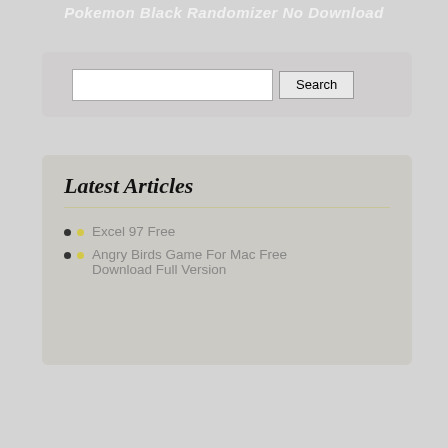Pokemon Black Randomizer No Download
[Figure (screenshot): Search bar widget with text input field and Search button on a light gray rounded rectangle background]
Latest Articles
Excel 97 Free
Angry Birds Game For Mac Free Download Full Version